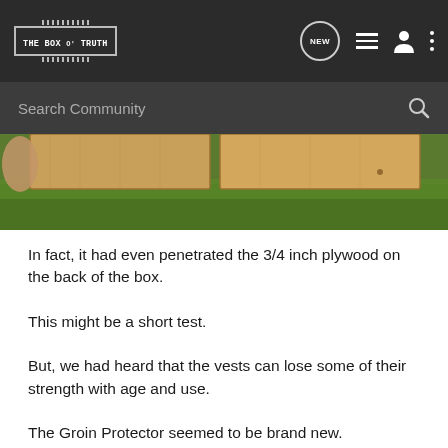THE BOX O' TRUTH — Navigation bar with logo, NEW, menu, user, and more icons
[Figure (screenshot): Search Community bar on dark background]
[Figure (photo): Partial photo of wooden box/plywood boards on grass, viewed from above]
In fact, it had even penetrated the 3/4 inch plywood on the back of the box.
This might be a short test.
But, we had heard that the vests can lose some of their strength with age and use.
The Groin Protector seemed to be brand new.